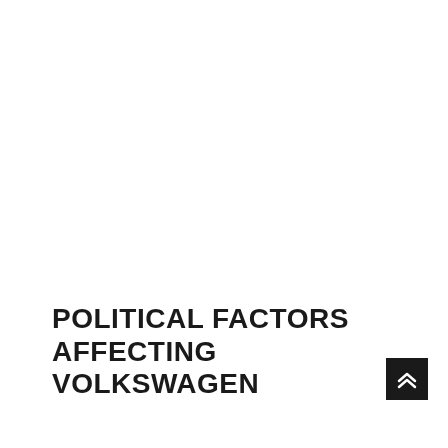POLITICAL FACTORS AFFECTING VOLKSWAGEN